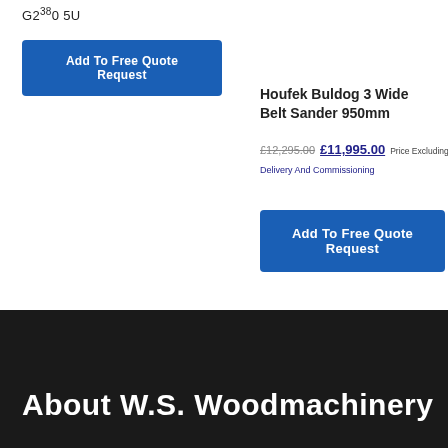G230 5U
Add To Free Quote Request
Houfek Buldog 3 Wide Belt Sander 950mm
£12,295.00 £11,995.00 Price Excluding VAT, Delivery And Commissioning
Add To Free Quote Request
About W.S. Woodmachinery